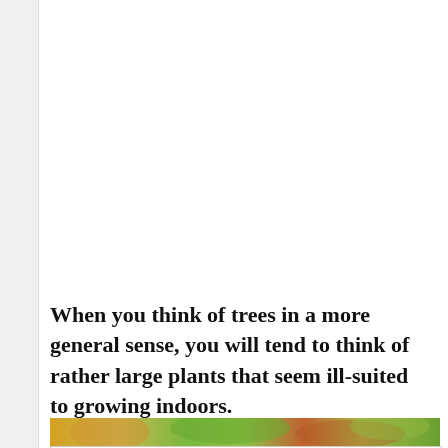When you think of trees in a more general sense, you will tend to think of rather large plants that seem ill-suited to growing indoors.
[Figure (photo): Close-up photo strip of fruit tree foliage with orange and green colors visible]
[Figure (screenshot): Advertisement widget with search bar and two list items: 1. Fruit Trees that are Easy to Grow, 2. Fast Bearing Fruit Trees]